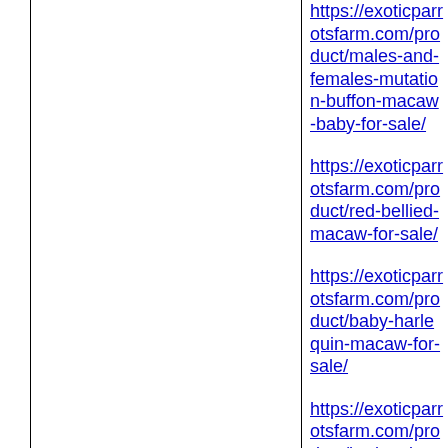https://exoticparrotsfarm.com/product/males-and-females-mutation-buffon-macaw-baby-for-sale/
https://exoticparrotsfarm.com/product/red-bellied-macaw-for-sale/
https://exoticparrotsfarm.com/product/baby-harlequin-macaw-for-sale/
https://exoticparrotsfarm.com/product/harlequin-macaw-eggs/
https://exoticparrotsfarm.com/product/buffon-macaw-parrot-egg/
https://exoticparrotsfarm.com/product/green-thiged-caiques-eggs-for-sale/
https://exoticparrotsfarm.com/product/mutation-buffon-macaws-egg-for-sale/
https://exoticparrotsfarm.com/product/dasha-african-grey-parrot-for-sale/